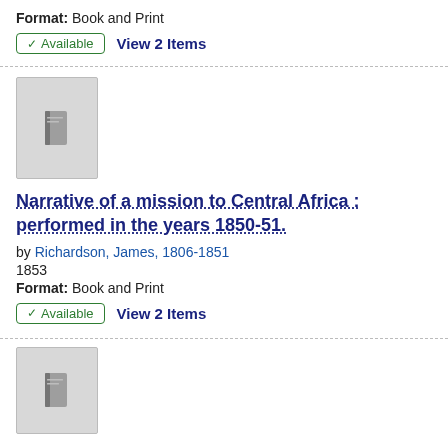Format: Book and Print
✓ Available   View 2 Items
[Figure (illustration): Book placeholder thumbnail — grey rectangle with small dark book icon]
Narrative of a mission to Central Africa : performed in the years 1850-51.
by Richardson, James, 1806-1851
1853
Format: Book and Print
✓ Available   View 2 Items
[Figure (illustration): Book placeholder thumbnail — grey rectangle with small dark book icon]